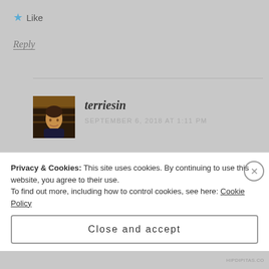★ Like
Reply
terriesin
SEPTEMBER 6, 2018 AT 1:11 PM
[Figure (illustration): Two red heart emoji characters side by side]
Privacy & Cookies: This site uses cookies. By continuing to use this website, you agree to their use. To find out more, including how to control cookies, see here: Cookie Policy
Close and accept